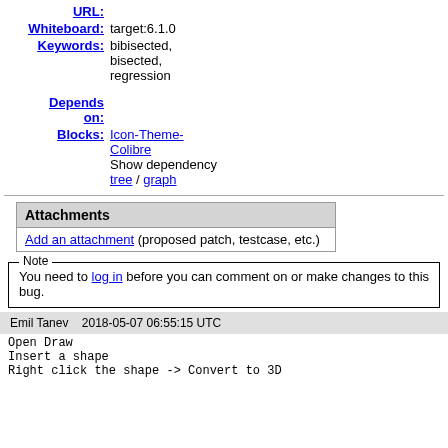URL:
Whiteboard: target:6.1.0
Keywords: bibisected, bisected, regression
Depends on:
Blocks: Icon-Theme-Colibre
Show dependency tree / graph
| Attachments |
| --- |
| Add an attachment (proposed patch, testcase, etc.) |
Note
You need to log in before you can comment on or make changes to this bug.
Emil Tanev   2018-05-07 06:55:15 UTC
Open Draw
Insert a shape
Right click the shape -> Convert to 3D